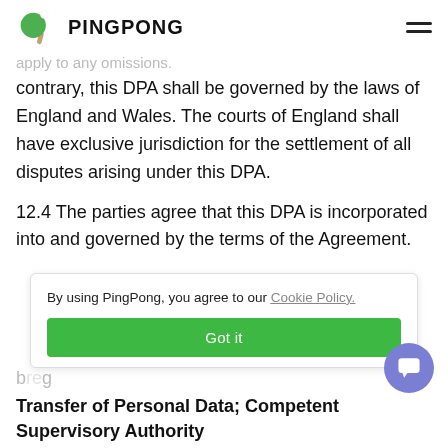PINGPONG
apply to any omissions.
contrary, this DPA shall be governed by the laws of England and Wales. The courts of England shall have exclusive jurisdiction for the settlement of all disputes arising under this DPA.
12.4 The parties agree that this DPA is incorporated into and governed by the terms of the Agreement.
By using PingPong, you agree to our Cookie Policy.
Got it
Transfer of Personal Data; Competent Supervisory Authority